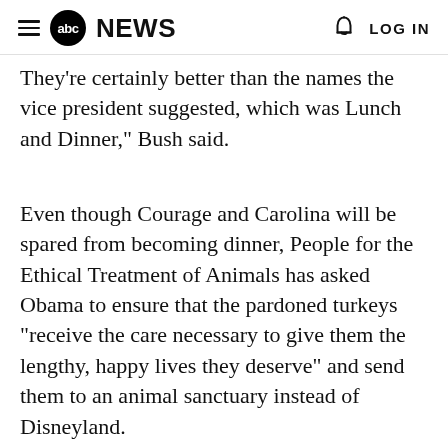abc NEWS  LOG IN
They're certainly better than the names the vice president suggested, which was Lunch and Dinner," Bush said.
Even though Courage and Carolina will be spared from becoming dinner, People for the Ethical Treatment of Animals has asked Obama to ensure that the pardoned turkeys "receive the care necessary to give them the lengthy, happy lives they deserve" and send them to an animal sanctuary instead of Disneyland.